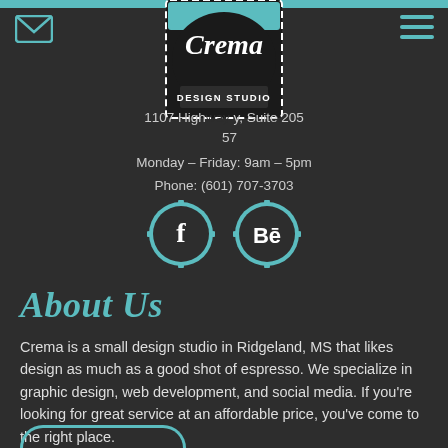Crema Design Studio header with email icon, logo stamp, and hamburger menu
1107 High... y, Suite 205
...57
Monday – Friday: 9am – 5pm
Phone: (601) 707-3703
[Figure (logo): Facebook and Behance social media badge icons in teal/dark style]
About Us
Crema is a small design studio in Ridgeland, MS that likes design as much as a good shot of espresso. We specialize in graphic design, web development, and social media. If you're looking for great service at an affordable price, you've come to the right place.